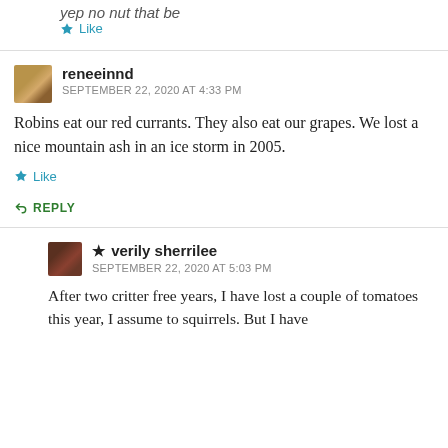yep no nut that be
★ Like
reneeinnd
SEPTEMBER 22, 2020 AT 4:33 PM
Robins eat our red currants. They also eat our grapes. We lost a nice mountain ash in an ice storm in 2005.
★ Like
↳ REPLY
★ verily sherrilee
SEPTEMBER 22, 2020 AT 5:03 PM
After two critter free years, I have lost a couple of tomatoes this year, I assume to squirrels. But I have plenty of tomatoes to spare, this year, all sorts